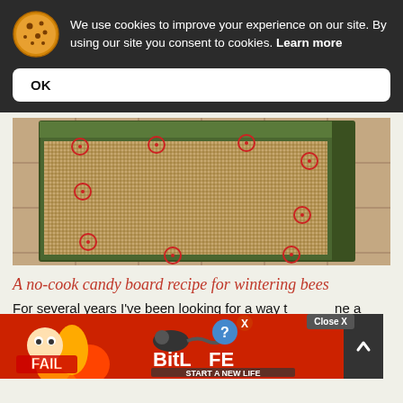We use cookies to improve your experience on our site. By using our site you consent to cookies. Learn more
OK
[Figure (photo): A wooden candy board / moisture quilt with green frame and wire mesh grid, shown on a tile floor with red circle markers at screw/attachment points]
A no-cook candy board recipe for wintering bees
For several years I've been looking for a way to combine a moisture quilt with a candy board. I wrote a post about this a while ago, and it described a no-cook method for making candy
[Figure (screenshot): BitLife advertisement overlay with 'FAIL' game graphic, 'START A NEW LIFE' button, question mark and X button, and 'Close X' button in upper right]